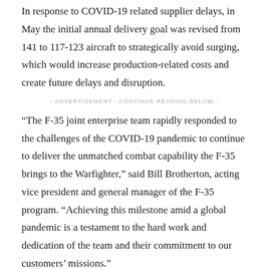In response to COVID-19 related supplier delays, in May the initial annual delivery goal was revised from 141 to 117-123 aircraft to strategically avoid surging, which would increase production-related costs and create future delays and disruption.
- ADVERTISEMENT - CONTINUE READING BELOW -
“The F-35 joint enterprise team rapidly responded to the challenges of the COVID-19 pandemic to continue to deliver the unmatched combat capability the F-35 brings to the Warfighter,” said Bill Brotherton, acting vice president and general manager of the F-35 program. “Achieving this milestone amid a global pandemic is a testament to the hard work and dedication of the team and their commitment to our customers’ missions.”
Lockheed Martin took proactive measures to mitigate COVID-19 supplier impacts and position the program for the fastest possible recovery by adjusting employee work schedules, maintaining